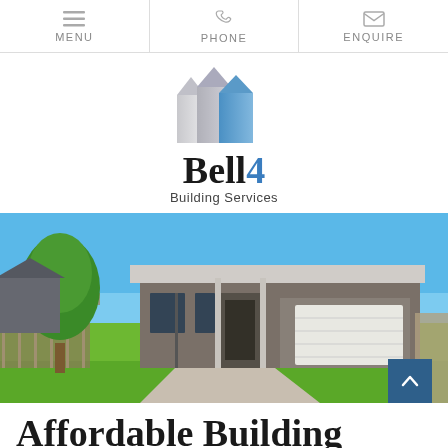MENU | PHONE | ENQUIRE
[Figure (logo): Bell4 Building Services logo with three house/building silhouette icons in silver and blue above the text 'Bell4 Building Services']
[Figure (photo): Exterior photo of a modern single-storey home with dark grey walls, white garage door, flat roof, green lawn, concrete driveway, and blue sky]
Affordable Building